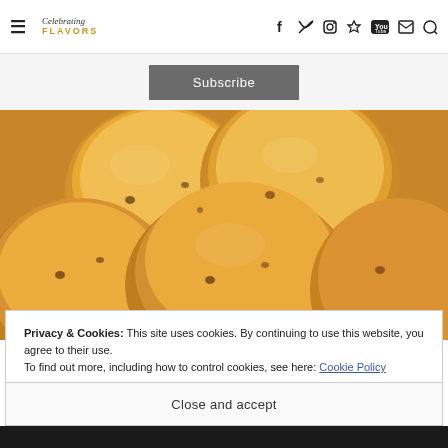Celebrating Flavors — navigation header with social icons: Facebook, Twitter, Instagram, Pinterest, YouTube, Email, Search
Subscribe
[Figure (photo): Close-up photo of golden-brown baked rolls or biscuits piled together, showing flaky texture with visible mix-ins]
Privacy & Cookies: This site uses cookies. By continuing to use this website, you agree to their use.
To find out more, including how to control cookies, see here: Cookie Policy
Close and accept